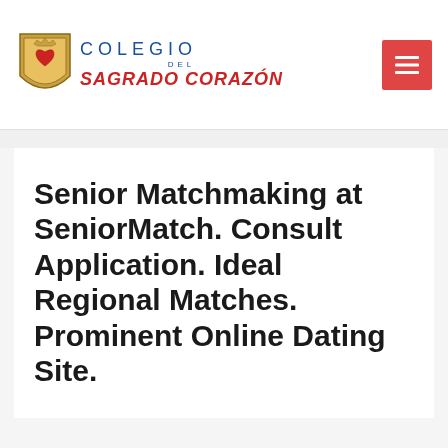[Figure (logo): Colegio del Sagrado Corazón logo with emblem and text]
Senior Matchmaking at SeniorMatch. Consult Application. Ideal Regional Matches. Prominent Online Dating Site.